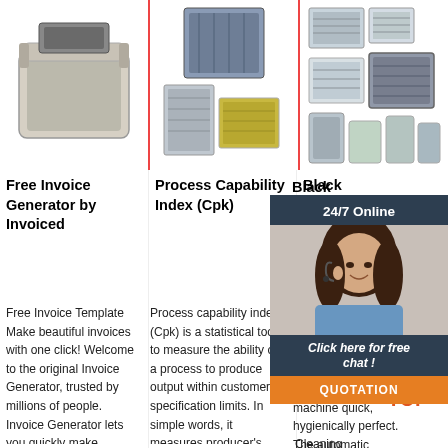[Figure (photo): Photo of a plastic storage container/box, light gray, open lid, top view]
[Figure (photo): Photo of industrial air filter units, multiple filter panels stacked]
[Figure (photo): Photo of various HVAC air filter products arranged in a collection]
Free Invoice Generator by Invoiced
Free Invoice Template Make beautiful invoices with one click! Welcome to the original Invoice Generator, trusted by millions of people. Invoice Generator lets you quickly make invoices with our
Process Capability Index (Cpk)
Process capability index (Cpk) is a statistical tool, to measure the ability of a process to produce output within customer's specification limits. In simple words, it measures producer's capability to produce
Black... High... fully... - The...
Cleaning automatically, machine quick, hygienically perfect. The automatic cleaning program of the Black&White3 starts with the press of a button and is user
[Figure (photo): 24/7 Online chat widget showing a female customer service agent with headset, dark background, with 'Click here for free chat!' text and QUOTATION button]
[Figure (logo): TOP logo in orange/red dotted arc style with the word TOP]